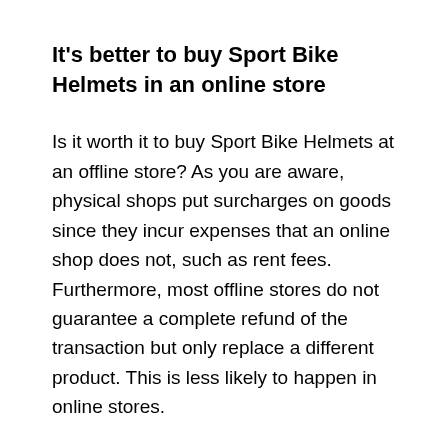It's better to buy Sport Bike Helmets in an online store
Is it worth it to buy Sport Bike Helmets at an offline store? As you are aware, physical shops put surcharges on goods since they incur expenses that an online shop does not, such as rent fees. Furthermore, most offline stores do not guarantee a complete refund of the transaction but only replace a different product. This is less likely to happen in online stores.
Still, It is helpful to visit offline shops to give us a realistic picture of the Sport Bike Helmets we might get in the market. In reality, the prices are usually cheaper on the web. The return policies are helpful to the consumer, who may choose to send the goods